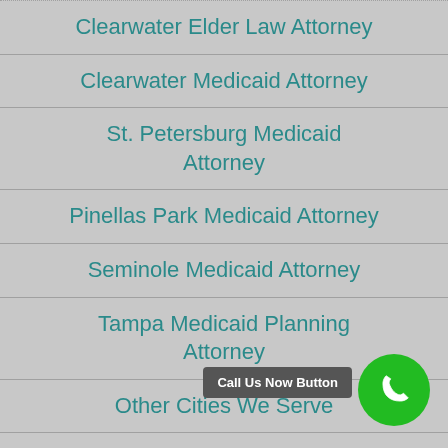Clearwater Elder Law Attorney
Clearwater Medicaid Attorney
St. Petersburg Medicaid Attorney
Pinellas Park Medicaid Attorney
Seminole Medicaid Attorney
Tampa Medicaid Planning Attorney
Other Cities We Serve
Pinellas Medicaid Planning
Call Us Now Button